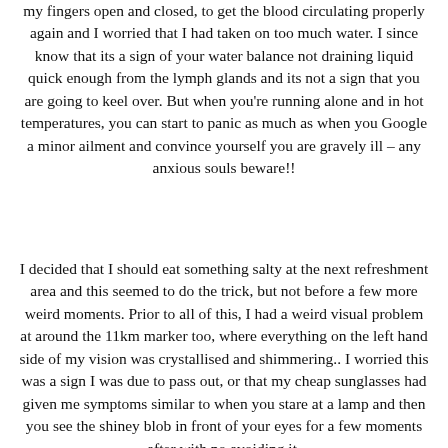my fingers open and closed, to get the blood circulating properly again and I worried that I had taken on too much water. I since know that its a sign of your water balance not draining liquid quick enough from the lymph glands and its not a sign that you are going to keel over. But when you're running alone and in hot temperatures, you can start to panic as much as when you Google a minor ailment and convince yourself you are gravely ill – any anxious souls beware!!
I decided that I should eat something salty at the next refreshment area and this seemed to do the trick, but not before a few more weird moments. Prior to all of this, I had a weird visual problem at around the 11km marker too, where everything on the left hand side of my vision was crystallised and shimmering.. I worried this was a sign I was due to pass out, or that my cheap sunglasses had given me symptoms similar to when you stare at a lamp and then you see the shiney blob in front of your eyes for a few moments after with no avoiding it.